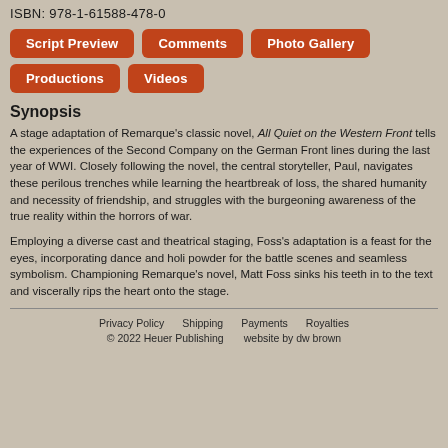ISBN: 978-1-61588-478-0
[Figure (other): Navigation buttons: Script Preview, Comments, Photo Gallery, Productions, Videos]
Synopsis
A stage adaptation of Remarque's classic novel, All Quiet on the Western Front tells the experiences of the Second Company on the German Front lines during the last year of WWI. Closely following the novel, the central storyteller, Paul, navigates these perilous trenches while learning the heartbreak of loss, the shared humanity and necessity of friendship, and struggles with the burgeoning awareness of the true reality within the horrors of war.
Employing a diverse cast and theatrical staging, Foss's adaptation is a feast for the eyes, incorporating dance and holi powder for the battle scenes and seamless symbolism. Championing Remarque's novel, Matt Foss sinks his teeth in to the text and viscerally rips the heart onto the stage.
Privacy Policy   Shipping   Payments   Royalties   © 2022 Heuer Publishing   website by dw brown